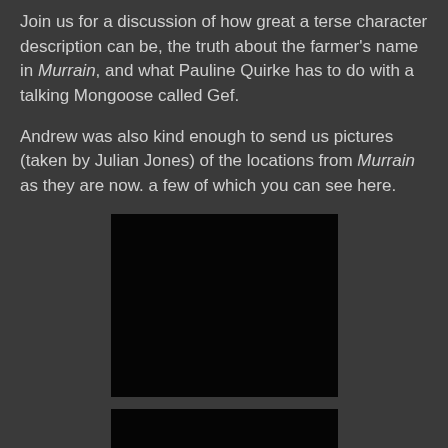Join us for a discussion of how great a terse character description can be, the truth about the farmer's name in Murrain, and what Pauline Quirke has to do with a talking Mongoose called Gef.
Andrew was also kind enough to send us pictures (taken by Julian Jones) of the locations from Murrain as they are now. a few of which you can see here.
[Figure (photo): A nearly black/very dark photograph of a location from Murrain (first image)]
[Figure (photo): A nearly black/very dark photograph of a location from Murrain (second image, partially visible)]